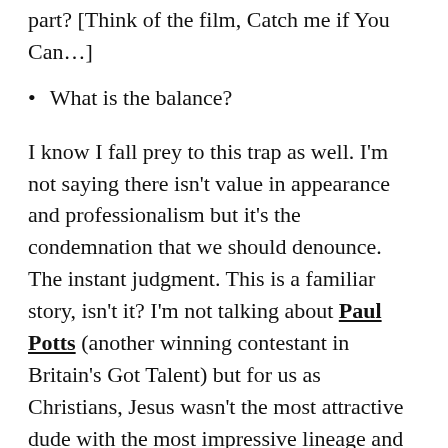part?  [Think of the film, Catch me if You Can…]
What is the balance?
I know I fall prey to this trap as well.  I'm not saying there isn't value in appearance and professionalism but it's the condemnation that we should denounce.  The instant judgment.  This is a familiar story, isn't it?  I'm not talking about Paul Potts (another winning contestant in Britain's Got Talent) but for us as Christians, Jesus wasn't the most attractive dude with the most impressive lineage and resume…